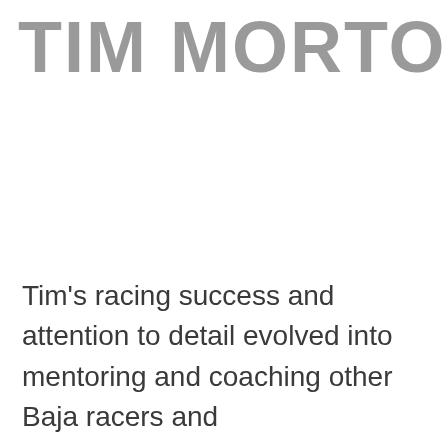TIM MORTON
Tim's racing success and attention to detail evolved into mentoring and coaching other Baja racers and